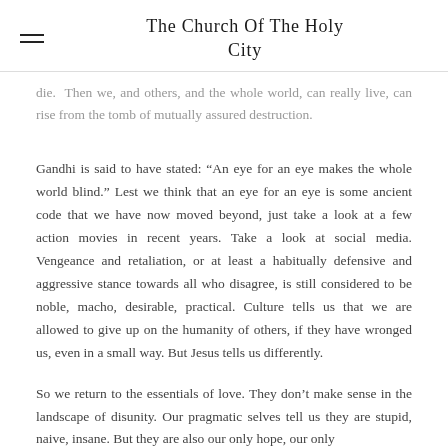The Church Of The Holy City
die. Then we, and others, and the whole world, can really live, can rise from the tomb of mutually assured destruction.
Gandhi is said to have stated: “An eye for an eye makes the whole world blind.” Lest we think that an eye for an eye is some ancient code that we have now moved beyond, just take a look at a few action movies in recent years. Take a look at social media. Vengeance and retaliation, or at least a habitually defensive and aggressive stance towards all who disagree, is still considered to be noble, macho, desirable, practical. Culture tells us that we are allowed to give up on the humanity of others, if they have wronged us, even in a small way. But Jesus tells us differently.
So we return to the essentials of love. They don’t make sense in the landscape of disunity. Our pragmatic selves tell us they are stupid, naive, insane. But they are also our only hope, our only...